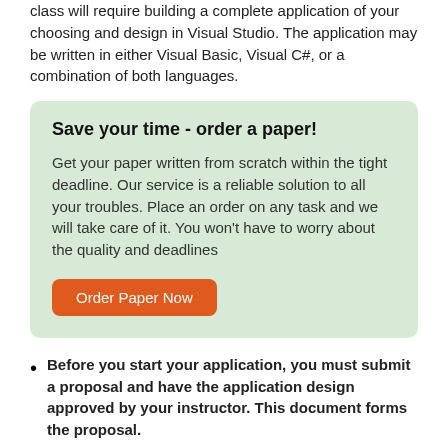class will require building a complete application of your choosing and design in Visual Studio. The application may be written in either Visual Basic, Visual C#, or a combination of both languages.
[Figure (infographic): Light green ad box with bold title 'Save your time - order a paper!', body text about paper writing service, and an orange 'Order Paper Now' button.]
Before you start your application, you must submit a proposal and have the application design approved by your instructor. This document forms the proposal.
Your final project must be a Windows application that involves